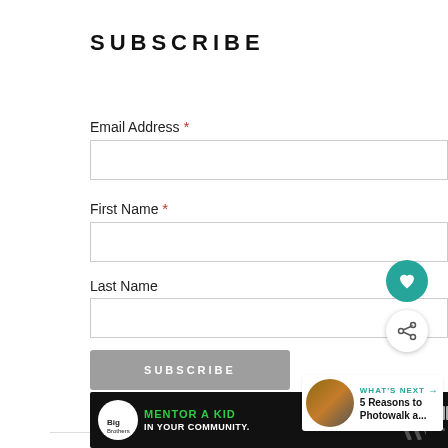SUBSCRIBE
Email Address *
First Name *
Last Name
[Figure (screenshot): Subscribe form with Email Address, First Name, Last Name fields and a SUBSCRIBE button. Overlaid UI elements include a teal heart/favorite button and a share button. A 'WHAT'S NEXT' card shows '5 Reasons to Photowalk a...' at the bottom right.]
[Figure (infographic): Advertisement banner: Big Brothers Big Sisters logo, 'MENTOR A KID IN YOUR COMMUNITY.' text in green, 'Learn How' button, decorative diagonal stripes, and a weather widget icon.]